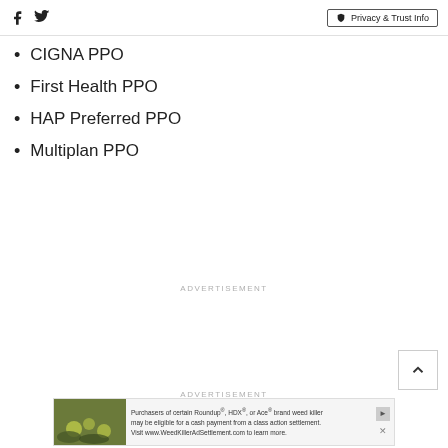Social icons (Facebook, Twitter) | Privacy & Trust Info
CIGNA PPO
First Health PPO
HAP Preferred PPO
Multiplan PPO
ADVERTISEMENT
ADVERTISEMENT
[Figure (photo): Advertisement banner: Purchasers of certain Roundup®, HDX®, or Ace® brand weed killer may be eligible for a cash payment from a class action settlement. Visit www.WeedKillerAdSettlement.com to learn more.]